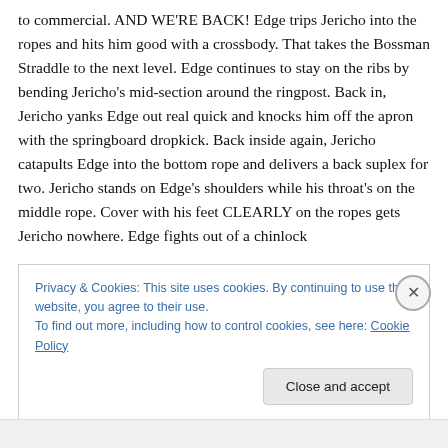to commercial. AND WE'RE BACK! Edge trips Jericho into the ropes and hits him good with a crossbody. That takes the Bossman Straddle to the next level. Edge continues to stay on the ribs by bending Jericho's mid-section around the ringpost. Back in, Jericho yanks Edge out real quick and knocks him off the apron with the springboard dropkick. Back inside again, Jericho catapults Edge into the bottom rope and delivers a back suplex for two. Jericho stands on Edge's shoulders while his throat's on the middle rope. Cover with his feet CLEARLY on the ropes gets Jericho nowhere. Edge fights out of a chinlock
Privacy & Cookies: This site uses cookies. By continuing to use this website, you agree to their use.
To find out more, including how to control cookies, see here: Cookie Policy
Close and accept